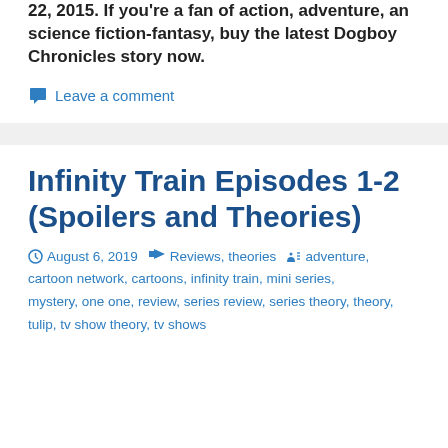22, 2015. If you're a fan of action, adventure, an science fiction-fantasy, buy the latest Dogboy Chronicles story now.
Leave a comment
Infinity Train Episodes 1-2 (Spoilers and Theories)
August 6, 2019   Reviews, theories   adventure, cartoon network, cartoons, infinity train, mini series, mystery, one one, review, series review, series theory, theory, tulip, tv show theory, tv shows